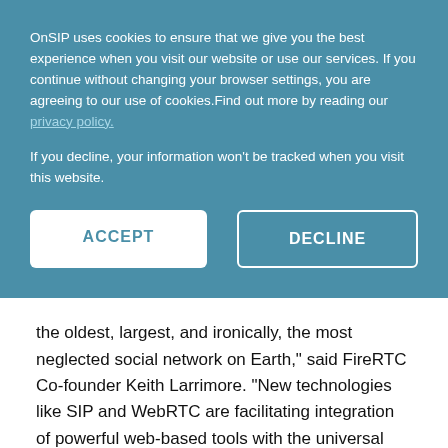OnSIP uses cookies to ensure that we give you the best experience when you visit our website or use our services. If you continue without changing your browser settings, you are agreeing to our use of cookies.Find out more by reading our privacy policy.
If you decline, your information won't be tracked when you visit this website.
ACCEPT
DECLINE
the oldest, largest, and ironically, the most neglected social network on Earth," said FireRTC Co-founder Keith Larrimore. "New technologies like SIP and WebRTC are facilitating integration of powerful web-based tools with the universal reach of the telephone network."
Zoiper